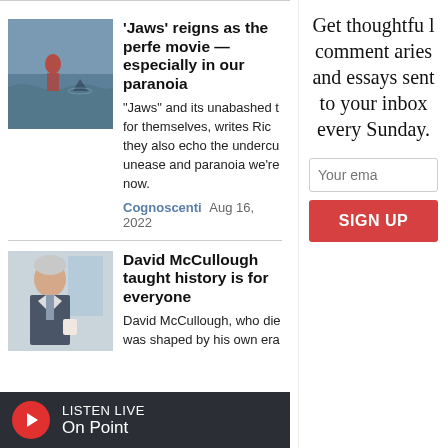[Figure (photo): Photo of a person at sea, likely a movie still from Jaws]
'Jaws' reigns as the perfect movie — especially in our paranoia
"Jaws" and its unabashed t for themselves, writes Ric they also echo the undercu unease and paranoia we're now.
Cognoscenti  Aug 16, 2022
[Figure (photo): Photo of David McCullough, an elderly man in a suit]
David McCullough taught history is for everyone
David McCullough, who die was shaped by his own era
Get thoughtful commentaries and essays sent to your inbox every Sunday.
Your email
SIGN UP
LISTEN LIVE On Point